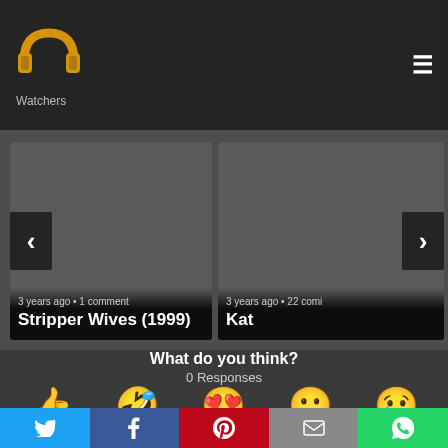[Figure (logo): PP Watchers logo - golden/orange headphone icon with text 'Watchers' below]
[Figure (screenshot): Card showing navigation arrow left, timestamp '3 years ago • 1 comment', title 'Stripper Wives (1999)']
[Figure (screenshot): Card showing navigation arrow right, timestamp '3 years ago • 22 comi', title 'Kat']
What do you think?
0 Responses
[Figure (infographic): Emoji reaction buttons: Upvote (thumbs up), Funny (laughing face), Love (heart eyes), Surprised (surprised face), Angry (angry sad face)]
[Figure (infographic): Social share bar: Twitter, Facebook, Pinterest, Email, WhatsApp]